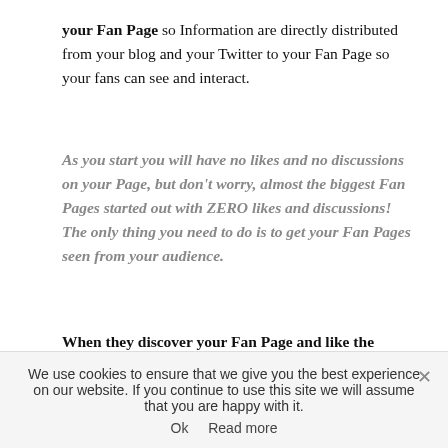your Fan Page so Information are directly distributed from your blog and your Twitter to your Fan Page so your fans can see and interact.
As you start you will have no likes and no discussions on your Page, but don't worry, almost the biggest Fan Pages started out with ZERO likes and discussions! The only thing you need to do is to get your Fan Pages seen from your audience.
When they discover your Fan Page and like the content you publish than they will share it and this will attract more visitors and more likes. You have
We use cookies to ensure that we give you the best experience on our website. If you continue to use this site we will assume that you are happy with it. Ok  Read more